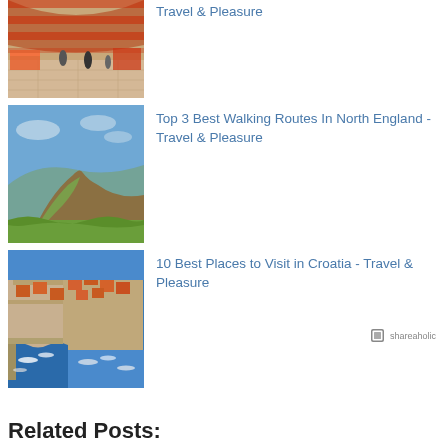[Figure (photo): Indoor market hall with red and white striped ceiling, people and stalls]
Travel & Pleasure
[Figure (photo): Iconic rock hill formation with green fields and blue sky in North England (Lindisfarne/Holy Island area)]
Top 3 Best Walking Routes In North England - Travel & Pleasure
[Figure (photo): Aerial view of Dubrovnik Croatia with harbor, boats, and orange-roofed buildings]
10 Best Places to Visit in Croatia - Travel & Pleasure
shareaholic
Related Posts: